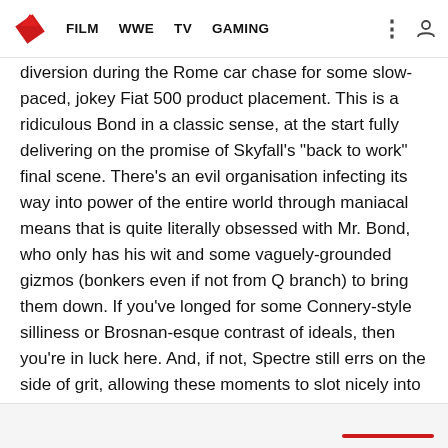FILM  WWE  TV  GAMING
diversion during the Rome car chase for some slow-paced, jokey Fiat 500 product placement. This is a ridiculous Bond in a classic sense, at the start fully delivering on the promise of Skyfall's "back to work" final scene. There's an evil organisation infecting its way into power of the entire world through maniacal means that is quite literally obsessed with Mr. Bond, who only has his wit and some vaguely-grounded gizmos (bonkers even if not from Q branch) to bring them down. If you've longed for some Connery-style silliness or Brosnan-esque contrast of ideals, then you're in luck here. And, if not, Spectre still errs on the side of grit, allowing these moments to slot nicely into the slightly more offbeat tone of the film. Well, until it's all dropped for a kinda more serious second half. For the second half of the review, click next.